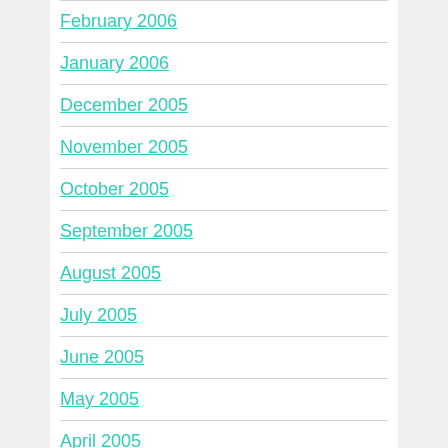February 2006
January 2006
December 2005
November 2005
October 2005
September 2005
August 2005
July 2005
June 2005
May 2005
April 2005